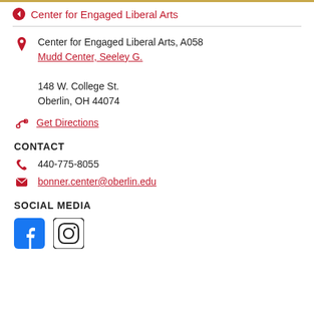Center for Engaged Liberal Arts
Center for Engaged Liberal Arts, A058
Mudd Center, Seeley G.
148 W. College St.
Oberlin, OH 44074
Get Directions
CONTACT
440-775-8055
bonner.center@oberlin.edu
SOCIAL MEDIA
[Figure (logo): Facebook and Instagram social media icons]